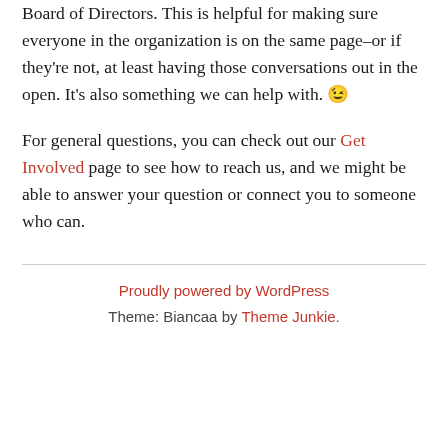Board of Directors. This is helpful for making sure everyone in the organization is on the same page–or if they're not, at least having those conversations out in the open. It's also something we can help with. 😉
For general questions, you can check out our Get Involved page to see how to reach us, and we might be able to answer your question or connect you to someone who can.
Proudly powered by WordPress
Theme: Biancaa by Theme Junkie.